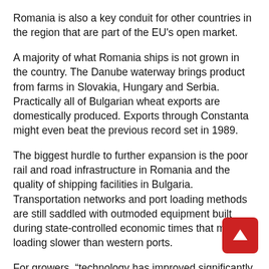Romania is also a key conduit for other countries in the region that are part of the EU's open market.
A majority of what Romania ships is not grown in the country. The Danube waterway brings product from farms in Slovakia, Hungary and Serbia. Practically all of Bulgarian wheat exports are domestically produced. Exports through Constanta might even beat the previous record set in 1989.
The biggest hurdle to further expansion is the poor rail and road infrastructure in Romania and the quality of shipping facilities in Bulgaria. Transportation networks and port loading methods are still saddled with outmoded equipment built during state-controlled economic times that make loading slower than western ports.
For growers, “technology has improved significantly, of course, due to accession,” said Petar Dimitrov, the head of Agricore, a grain commodities brokerage in the port city of